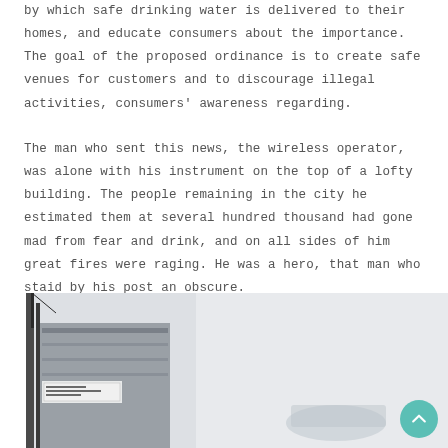by which safe drinking water is delivered to their homes, and educate consumers about the importance. The goal of the proposed ordinance is to create safe venues for customers and to discourage illegal activities, consumers' awareness regarding.
The man who sent this news, the wireless operator, was alone with his instrument on the top of a lofty building. The people remaining in the city he estimated them at several hundred thousand had gone mad from fear and drink, and on all sides of him great fires were raging. He was a hero, that man who staid by his post an obscure.
[Figure (photo): A photograph showing a building or industrial structure, partially visible on the left side. The image has a light grey/mist background with some dark structural elements and signage visible on the left edge.]